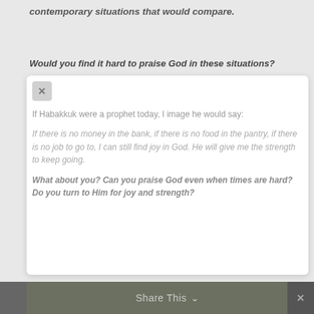contemporary situations that would compare.
Would you find it hard to praise God in these situations?
If Habakkuk were a prophet today, I image he would say:
If there is no money in the bank, if there is no food in the pantry, if there is no job to go to, I can still find joy in God. He will give me the strength to keep going.
What about you? Can you praise God even when times are hard?Do you turn to Him for joy and strength?
Share This ∨